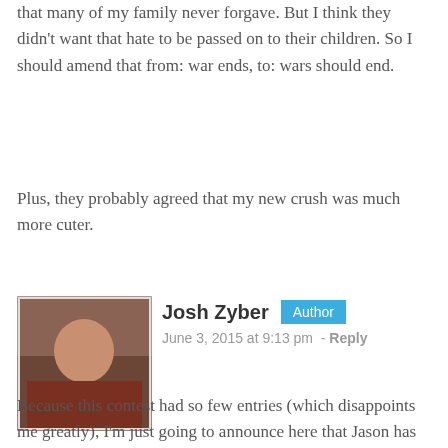that many of my family never forgave. But I think they didn't want that hate to be passed on to their children. So I should amend that from: war ends, to: wars should end.
Plus, they probably agreed that my new crush was much more cuter.
Josh Zyber  Author
June 3, 2015 at 9:13 pm  -  Reply
Because this contest had so few entries (which disappoints me greatly), I'm just going to announce here that Jason has been selected to win the prize. It didn't seem worth creating a new post to make that announcement.
Congratulations to Jason, and thanks to the few others of you who entered the contest with him.